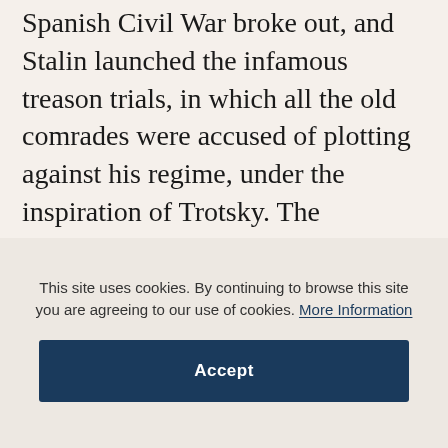Spanish Civil War broke out, and Stalin launched the infamous treason trials, in which all the old comrades were accused of plotting against his regime, under the inspiration of Trotsky. The Norwegian Socialist Government executed a volte-face, and placed Trotsky under house arrest. Van Heijenoort and another aide were deported to Denmark and imprisoned; the next day they were deported again to Belgium and from there escorted by police to Paris, where they were released. In December 1936, Trotsky left Norway for Mexico, his last place of refuge, at the
This site uses cookies. By continuing to browse this site you are agreeing to our use of cookies. More Information
Accept